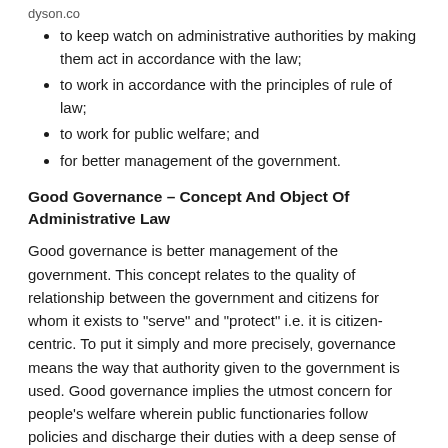dyson.co
to keep watch on administrative authorities by making them act in accordance with the law;
to work in accordance with the principles of rule of law;
to work for public welfare; and
for better management of the government.
Good Governance – Concept And Object Of Administrative Law
Good governance is better management of the government. This concept relates to the quality of relationship between the government and citizens for whom it exists to "serve" and "protect" i.e. it is citizen-centric. To put it simply and more precisely, governance means the way that authority given to the government is used. Good governance implies the utmost concern for people's welfare wherein public functionaries follow policies and discharge their duties with a deep sense of commitment, respecting the rule of law in a manner that is transparent, ensuring human rights and dignity, probity and public accountability.
Lorem ipsum partial text cut off at bottom of page...